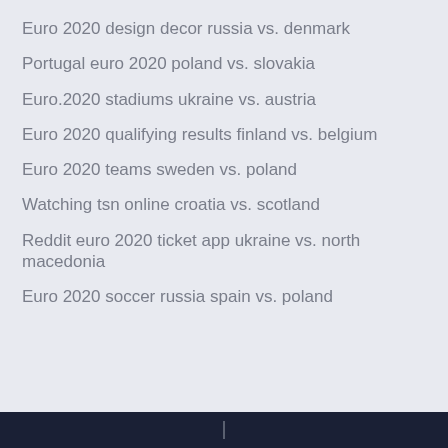Euro 2020 design decor russia vs. denmark
Portugal euro 2020 poland vs. slovakia
Euro.2020 stadiums ukraine vs. austria
Euro 2020 qualifying results finland vs. belgium
Euro 2020 teams sweden vs. poland
Watching tsn online croatia vs. scotland
Reddit euro 2020 ticket app ukraine vs. north macedonia
Euro 2020 soccer russia spain vs. poland